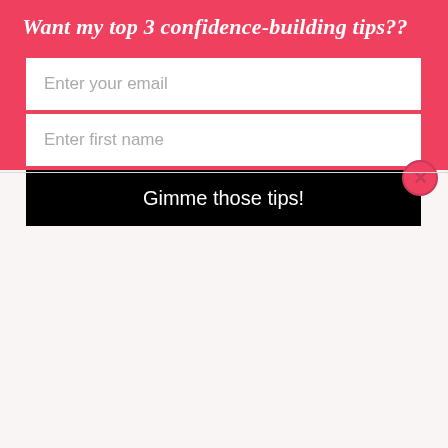Want my top 3 confidence-building tips??
Enter your email
Enter first name
Gimme those tips!